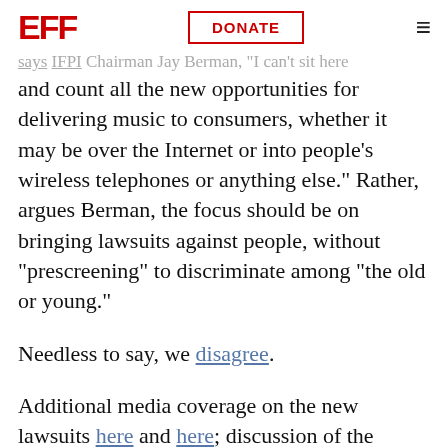EFF | DONATE
says IFPI Chairman Jay Berman, "I can't sit here and count all the new opportunities for delivering music to consumers, whether it may be over the Internet or into people's wireless telephones or anything else." Rather, argues Berman, the focus should be on bringing lawsuits against people, without "prescreening" to discriminate among "the old or young."
Needless to say, we disagree.
Additional media coverage on the new lawsuits here and here; discussion of the Harvard/UNC study here and here.